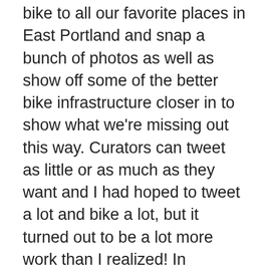bike to all our favorite places in East Portland and snap a bunch of photos as well as show off some of the better bike infrastructure closer in to show what we're missing out this way. Curators can tweet as little or as much as they want and I had hoped to tweet a lot and bike a lot, but it turned out to be a lot more work than I realized! In retrospect I should have planned more in advance. I made notes of places I wanted to go ahead of time, but I should have also made notes on general things I wanted to tweet about–and I should have composed all those general-thing tweets ahead of time for convenient cutting and pasting. I'm not much of a retweeter to begin with, but this is the perfect sort of account to retweet all the articles I see and read via twitter each day. Also my kids were both sick here and there during the week so that put a damper on things and kept us from doing much of anything.